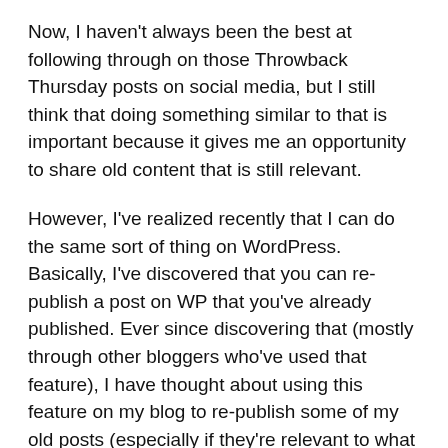Now, I haven't always been the best at following through on those Throwback Thursday posts on social media, but I still think that doing something similar to that is important because it gives me an opportunity to share old content that is still relevant.
However, I've realized recently that I can do the same sort of thing on WordPress. Basically, I've discovered that you can re-publish a post on WP that you've already published. Ever since discovering that (mostly through other bloggers who've used that feature), I have thought about using this feature on my blog to re-publish some of my old posts (especially if they're relevant to what I do now, or relevant to current events).
With all that being said, I have a simple question: How would my readers feel about my using this re-publish feature to re-share some old blog posts?